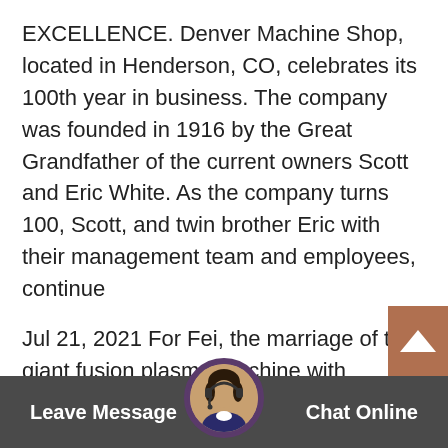EXCELLENCE. Denver Machine Shop, located in Henderson, CO, celebrates its 100th year in business. The company was founded in 1916 by the Great Grandfather of the current owners Scott and Eric White. As the company turns 100, Scott, and twin brother Eric with their management team and employees, continue
Jul 21, 2021 For Fei, the marriage of the giant fusion plasma machine with planetary science represents a path to the future. "Only the big lasers and Z machines will
05 Mar,2020 - Buying a used excavator is a great way to get a quality machine without spending a huge amount of money. Excavators will generally have a long lifespan, with many machines often lastings 10+ with proper care and maintenance.
[Figure (photo): Chat widget bottom bar with Leave Message button on left, Chat Online button on right, and a circular avatar of a customer service representative with headset in the center]